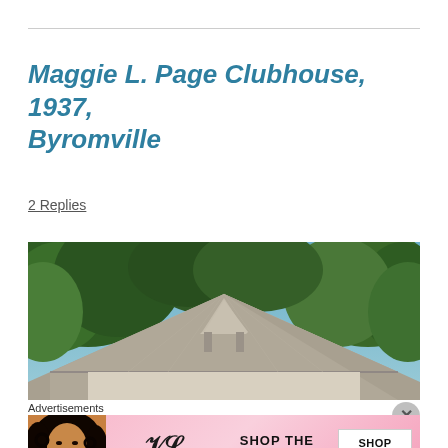Maggie L. Page Clubhouse, 1937, Byromville
2 Replies
[Figure (photo): Exterior photo of Maggie L. Page Clubhouse showing metal hip roof with gabled dormer, surrounded by green trees against a blue sky.]
Advertisements
[Figure (photo): Victoria's Secret advertisement banner showing a model with curly hair, Victoria's Secret logo, text 'SHOP THE COLLECTION', and a 'SHOP NOW' button.]